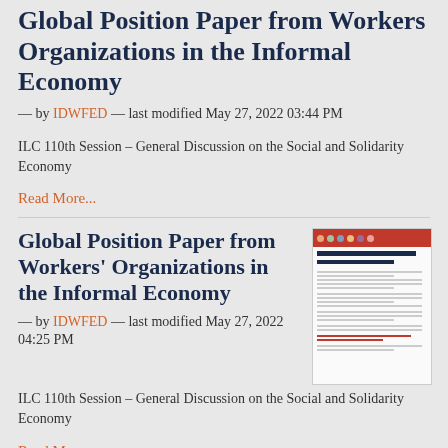Global Position Paper from Workers Organizations in the Informal Economy
— by IDWFED — last modified May 27, 2022 03:44 PM
ILC 110th Session – General Discussion on the Social and Solidarity Economy
Read More...
Global Position Paper from Workers' Organizations in the Informal Economy
[Figure (illustration): Thumbnail image of the Global Position Paper document showing logos and text]
— by IDWFED — last modified May 27, 2022 04:25 PM
ILC 110th Session – General Discussion on the Social and Solidarity Economy
Read More...
Freedom of Association: